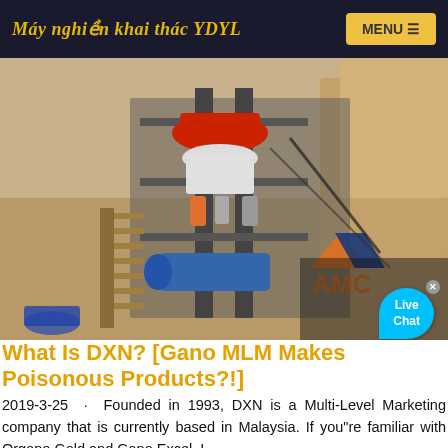Máy nghiền khai thác YDYL
[Figure (photo): Industrial mining/crushing equipment setup outdoors on a sandy/excavated site. Large cone crusher and various machinery on a steel frame structure with stairs. AMC logo visible in lower right. Live Chat bubble overlay in upper right of image.]
What Is DXN? [Gano MLM Makes Poisonous Products?!]
2019-3-25 · Founded in 1993, DXN is a Multi-Level Marketing company that is currently based in Malaysia. If you"re familiar with Organo Gold and Gano Excel, I